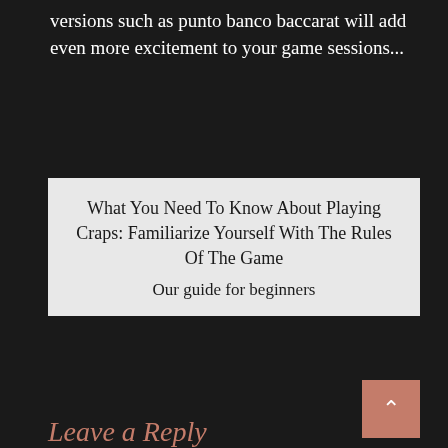versions such as punto banco baccarat will add even more excitement to your game sessions...
What You Need To Know About Playing Craps: Familiarize Yourself With The Rules Of The Game
Our guide for beginners
Leave a Reply
Your email address will not be published. Required fields are marked *
Comment